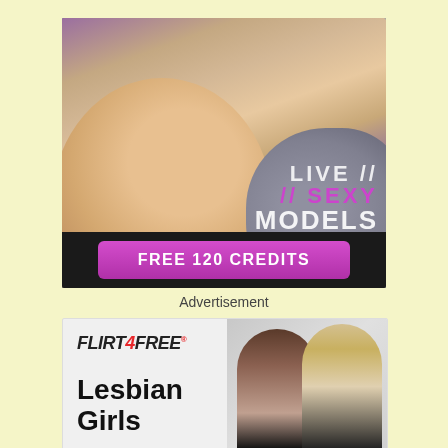[Figure (photo): Adult advertisement banner showing 'LIVE SEXY MODELS' text with a pink 'FREE 120 CREDITS' button on dark background]
Advertisement
[Figure (photo): Flirt4Free advertisement banner showing two women and text 'Lesbian Girls']